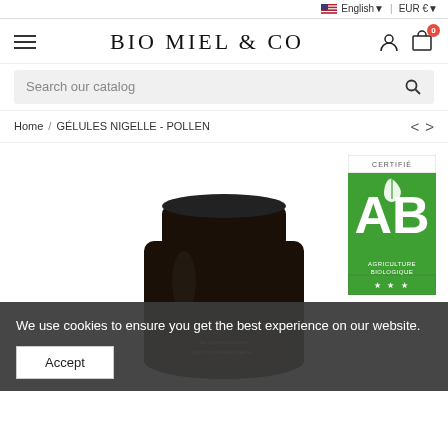English | EUR €
BIO MIEL & CO
Search our catalog
Home / GÉLULES NIGELLE - POLLEN
[Figure (photo): Dark glass supplement bottle with black lid, partially visible label, on white background. Green AB Agriculture Biologique certification logo and EU organic certification logo in top right corner.]
We use cookies to ensure you get the best experience on our website.
Accept